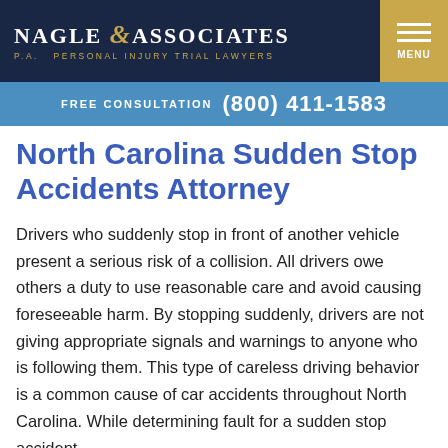[Figure (logo): Nagle & Associates P.A. Personal Injury Trial Lawyers logo on dark navy background with gold menu button]
FREE CONSULTATION (800) 411-1583
North Carolina Sudden Stop Accidents Attorney
Drivers who suddenly stop in front of another vehicle present a serious risk of a collision. All drivers owe others a duty to use reasonable care and avoid causing foreseeable harm. By stopping suddenly, drivers are not giving appropriate signals and warnings to anyone who is following them. This type of careless driving behavior is a common cause of car accidents throughout North Carolina. While determining fault for a sudden stop accident